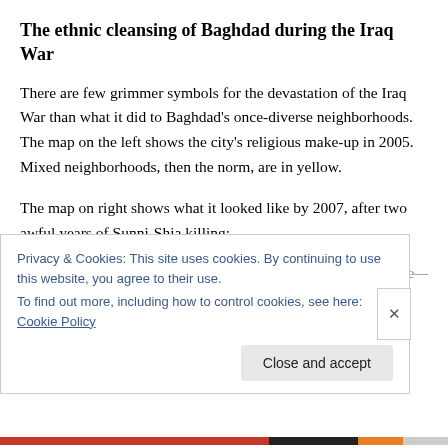The ethnic cleansing of Baghdad during the Iraq War
There are few grimmer symbols for the devastation of the Iraq War than what it did to Baghdad's once-diverse neighborhoods. The map on the left shows the city's religious make-up in 2005. Mixed neighborhoods, then the norm, are in yellow.
The map on right shows what it looked like by 2007, after two awful years of Sunni-Shia killing:
[truncated line obscured by cookie banner]
Privacy & Cookies: This site uses cookies. By continuing to use this website, you agree to their use.
To find out more, including how to control cookies, see here: Cookie Policy